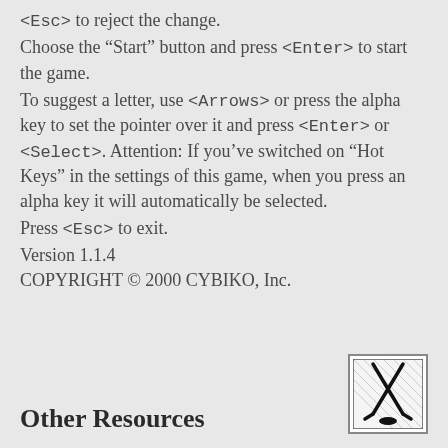<Esc> to reject the change.
Choose the “Start” button and press <Enter> to start the game.
To suggest a letter, use <Arrows> or press the alpha key to set the pointer over it and press <Enter> or <Select>. Attention: If you’ve switched on “Hot Keys” in the settings of this game, when you press an alpha key it will automatically be selected.
Press <Esc> to exit.
Version 1.1.4
COPYRIGHT © 2000 CYBIKO, Inc.
Other Resources
[Figure (illustration): Small icon/logo image showing crossed hockey sticks with a puck, black and white illustration with a border]